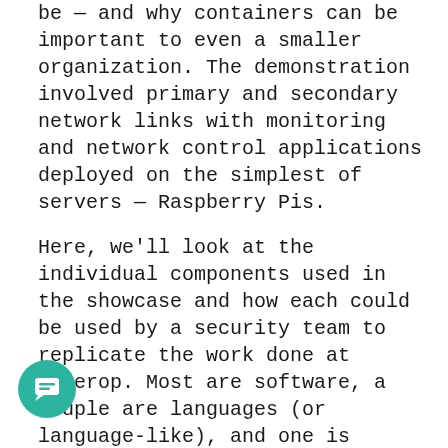be — and why containers can be important to even a smaller organization. The demonstration involved primary and secondary network links with monitoring and network control applications deployed on the simplest of servers — Raspberry Pis.
Here, we'll look at the individual components used in the showcase and how each could be used by a security team to replicate the work done at Interop. Most are software, a couple are languages (or language-like), and one is hardware. (To help those who are interested in replicating its experiment, the Interop Demonstration Lab team has placed all of its containers and support code on GitHub.)
Ansible
The demonstration network team had a number of criteria for its work — criteria that made for creative tension, if not outright conflict between goals. According to network architect and team leader